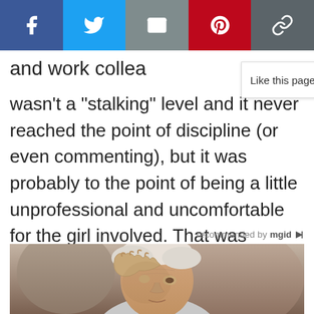Social share bar: Facebook, Twitter, Email, Pinterest, Link
and work collea
Like this page?! Follow us for more
wasn't a “stalking” level and it never reached the point of discipline (or even commenting), but it was probably to the point of being a little unprofessional and uncomfortable for the girl involved. That was decades ago and I’m now with a company that doesn’t tolerate that sort of thing.” – the_original_Retro
recommended by mgid
[Figure (photo): Elderly man with hand on forehead, appearing distressed, blurred background]